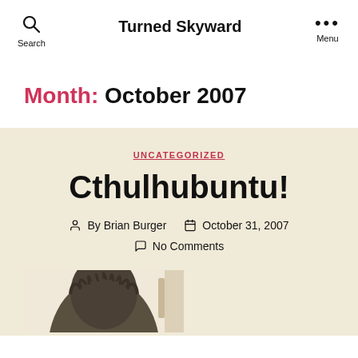Search | Turned Skyward | Menu
Month: October 2007
UNCATEGORIZED
Cthulhubuntu!
By Brian Burger   October 31, 2007   No Comments
[Figure (photo): Partial photo of a Cthulhu-style statue or figurine, dark colored, on a light background]